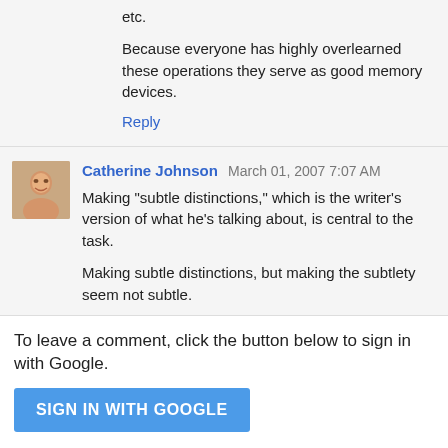etc.
Because everyone has highly overlearned these operations they serve as good memory devices.
Reply
Catherine Johnson  March 01, 2007 7:07 AM
Making "subtle distinctions," which is the writer's version of what he's talking about, is central to the task.
Making subtle distinctions, but making the subtlety seem not subtle.
Reply
To leave a comment, click the button below to sign in with Google.
SIGN IN WITH GOOGLE